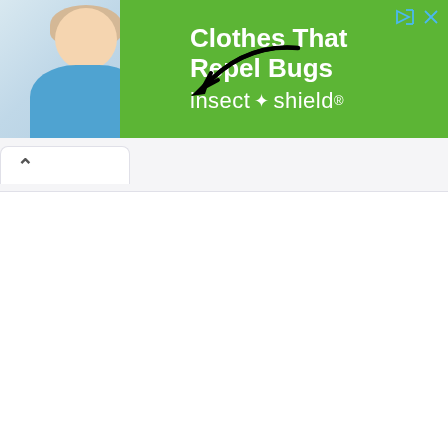[Figure (infographic): Advertisement banner for Insect Shield brand. Left side shows a woman in a blue shirt against a light blue-grey background with a large black arrow pointing at her shirt. Right green section reads 'Clothes That Repel Bugs' in bold white text alongside 'insect shield' brand logo in white. Top-right corner has share/close icons.]